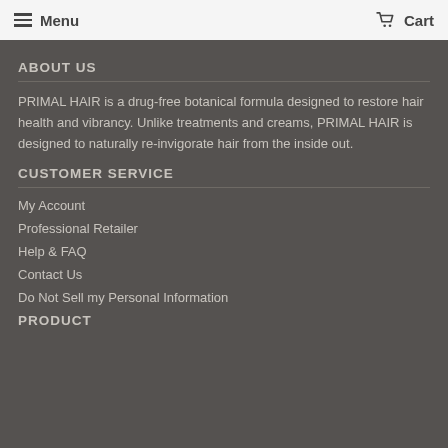Menu  Cart
ABOUT US
PRIMAL HAIR is a drug-free botanical formula designed to restore hair health and vibrancy. Unlike treatments and creams, PRIMAL HAIR is designed to naturally re-invigorate hair from the inside out.
CUSTOMER SERVICE
My Account
Professional Retailer
Help & FAQ
Contact Us
Do Not Sell my Personal Information
PRODUCT